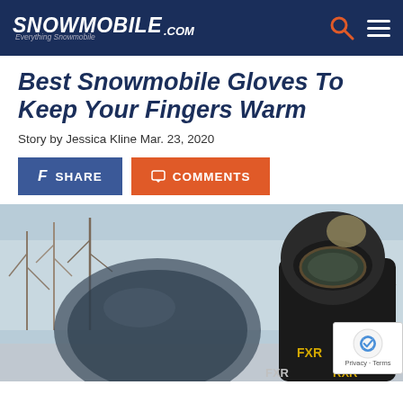Snowmobile Everything Snowmobile .COM
Best Snowmobile Gloves To Keep Your Fingers Warm
Story by Jessica Kline Mar. 23, 2020
SHARE   COMMENTS
[Figure (photo): A snowmobiler wearing a black FXR helmet with goggles and black FXR riding gear, seated on a snowmobile with a windshield visible in the foreground, trees in the background.]